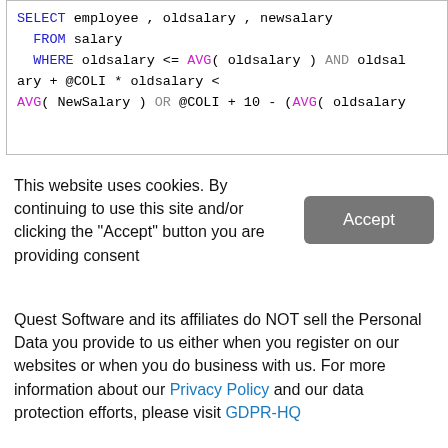[Figure (screenshot): Code block showing a SQL SELECT query with syntax highlighting: SELECT, FROM, WHERE keywords in blue; AVG in magenta; AND, OR in gray. Query selects employee, oldsalary, newsalary from salary table with conditions on oldsalary and AVG.]
This website uses cookies. By continuing to use this site and/or clicking the "Accept" button you are providing consent
Quest Software and its affiliates do NOT sell the Personal Data you provide to us either when you register on our websites or when you do business with us. For more information about our Privacy Policy and our data protection efforts, please visit GDPR-HQ